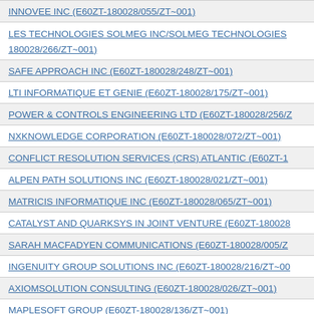INNOVEE INC (E60ZT-180028/055/ZT~001)
LES TECHNOLOGIES SOLMEG INC/SOLMEG TECHNOLOGIES 180028/266/ZT~001)
SAFE APPROACH INC (E60ZT-180028/248/ZT~001)
LTI INFORMATIQUE ET GENIE (E60ZT-180028/175/ZT~001)
POWER & CONTROLS ENGINEERING LTD (E60ZT-180028/256/Z
NXKNOWLEDGE CORPORATION (E60ZT-180028/072/ZT~001)
CONFLICT RESOLUTION SERVICES (CRS) ATLANTIC (E60ZT-1
ALPEN PATH SOLUTIONS INC (E60ZT-180028/021/ZT~001)
MATRICIS INFORMATIQUE INC (E60ZT-180028/065/ZT~001)
CATALYST AND QUARKSYS IN JOINT VENTURE (E60ZT-180028
SARAH MACFADYEN COMMUNICATIONS (E60ZT-180028/005/Z
INGENUITY GROUP SOLUTIONS INC (E60ZT-180028/216/ZT~00
AXIOMSOLUTION CONSULTING (E60ZT-180028/026/ZT~001)
MAPLESOFT GROUP (E60ZT-180028/136/ZT~001)